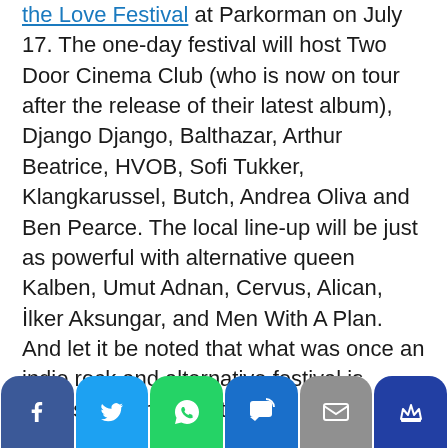the Love Festival at Parkorman on July 17. The one-day festival will host Two Door Cinema Club (who is now on tour after the release of their latest album), Django Django, Balthazar, Arthur Beatrice, HVOB, Sofi Tukker, Klangkarussel, Butch, Andrea Oliva and Ben Pearce. The local line-up will be just as powerful with alternative queen Kalben, Umut Adnan, Cervus, Alican, İlker Aksungar, and Men With A Plan. And let it be noted that what was once an indie rock and alternative festival is consistently moving towards
[Figure (infographic): Social sharing toolbar with buttons for Facebook, Twitter, WhatsApp, SMS, Email, and Crown/bookmark]